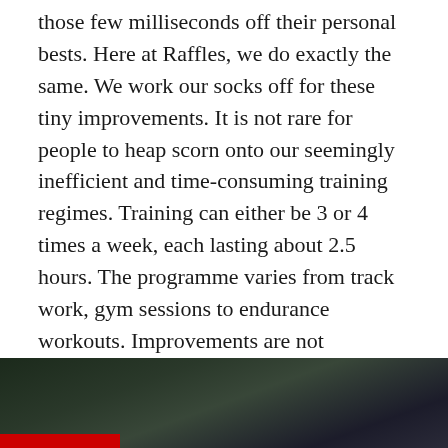those few milliseconds off their personal bests. Here at Raffles, we do exactly the same. We work our socks off for these tiny improvements. It is not rare for people to heap scorn onto our seemingly inefficient and time-consuming training regimes. Training can either be 3 or 4 times a week, each lasting about 2.5 hours. The programme varies from track work, gym sessions to endurance workouts. Improvements are not immediate; in fact they are, most of the time, painstakingly gradual. However, this is precisely where we learn the true meaning of hard work and patience in our endeavors.
[Figure (photo): Dark photograph, partially visible at the bottom of the page, showing an outdoor scene with dark tones. A red bar is visible at the bottom left.]